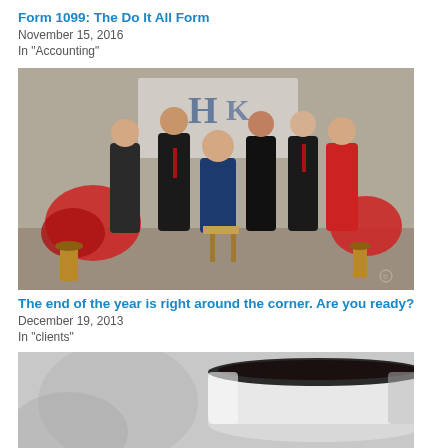Form 1099: The Do It All Form
November 15, 2016
In "Accounting"
[Figure (photo): Group photo of accounting firm staff (6 people) in formal business attire with red poinsettia plants, standing and sitting in front of a logo backdrop.]
The end of the year is right around the corner. Are you ready?
December 19, 2013
In "clients"
[Figure (photo): Close-up photo of a white coffee mug on a blurred background.]